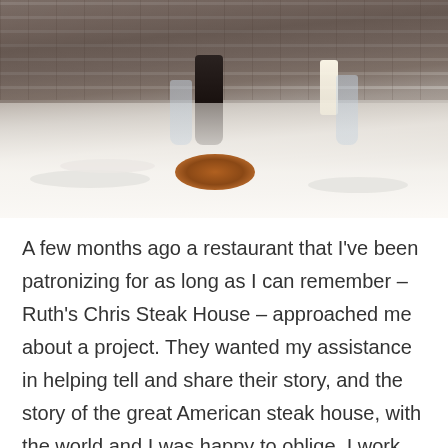[Figure (photo): A restaurant dining table set with multiple dishes including steaks, onion rings, salads, and glasses of water, in front of a brick wall background with candle lighting. Plates are arranged on a white tablecloth.]
A few months ago a restaurant that I've been patronizing for as long as I can remember – Ruth's Chris Steak House – approached me about a project. They wanted my assistance in helping tell and share their story, and the story of the great American steak house, with the world and I was happy to oblige. I work with a lot of companies and destinations, but working with